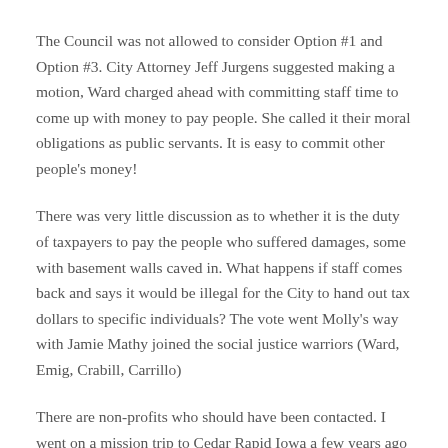The Council was not allowed to consider Option #1 and Option #3. City Attorney Jeff Jurgens suggested making a motion, Ward charged ahead with committing staff time to come up with money to pay people. She called it their moral obligations as public servants. It is easy to commit other people's money!
There was very little discussion as to whether it is the duty of taxpayers to pay the people who suffered damages, some with basement walls caved in. What happens if staff comes back and says it would be illegal for the City to hand out tax dollars to specific individuals? The vote went Molly's way with Jamie Mathy joined the social justice warriors (Ward, Emig, Crabill, Carrillo)
There are non-profits who should have been contacted. I went on a mission trip to Cedar Rapid Iowa a few years ago when they had even worse flooding than Bloomington. My team worked on a house of an elderly couple who had already scooped all the mud out of their basement one bucket at a time. We helped clean what